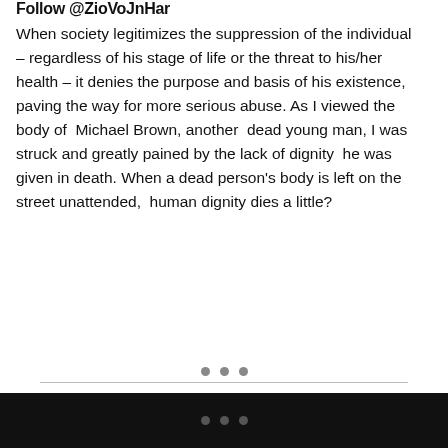Follow @ZioVoJnHar
When society legitimizes the suppression of the individual – regardless of his stage of life or the threat to his/her health – it denies the purpose and basis of his existence, paving the way for more serious abuse. As I viewed the body of Michael Brown, another dead young man, I was struck and greatly pained by the lack of dignity he was given in death. When a dead person's body is left on the street unattended, human dignity dies a little?
• • •